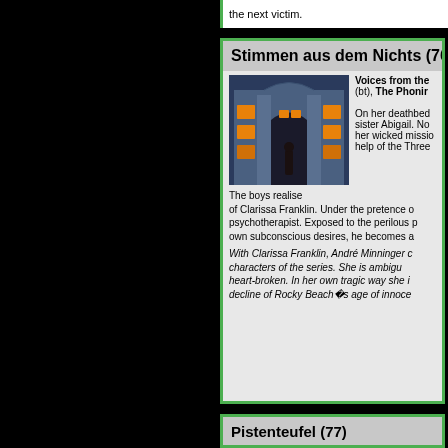the next victim.
Stimmen aus dem Nichts (76
[Figure (photo): A building facade at night with glowing orange windows and a statue silhouetted in the doorway]
Voices from the (bt), The Phonir
On her deathbed sister Abigail. No her wicked missio help of the Three
The boys realise of Clarissa Franklin. Under the pretence o psychotherapist. Exposed to the perilous p own subconscious desires, he becomes a
With Clarissa Franklin, André Minninger c characters of the series. She is ambigu heart-broken. In her own tragic way she i decline of Rocky Beach�s age of innoce
Pistenteufel (77)